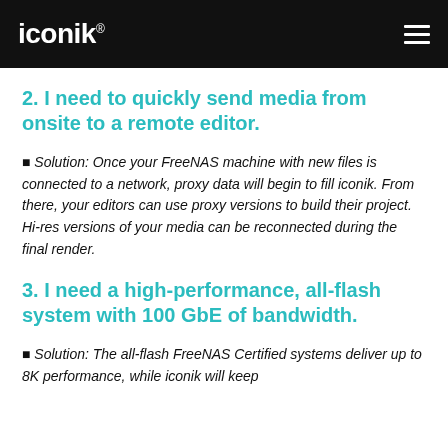iconik ☰
2. I need to quickly send media from onsite to a remote editor.
✦ Solution: Once your FreeNAS machine with new files is connected to a network, proxy data will begin to fill iconik. From there, your editors can use proxy versions to build their project. Hi-res versions of your media can be reconnected during the final render.
3. I need a high-performance, all-flash system with 100 GbE of bandwidth.
✦ Solution: The all-flash FreeNAS Certified systems deliver up to 8K performance, while iconik will keep